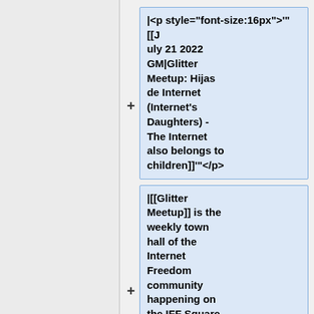|<p style="font-size:16px">'"[[July 21 2022 GM|Glitter Meetup: Hijas de Internet (Internet's Daughters) - The Internet also belongs to children]]'"</p>
|[[Glitter Meetup]] is the weekly town hall of the Internet Freedom community happening on the IFF Square. '"[[July 21 2022 GM|Read Notes